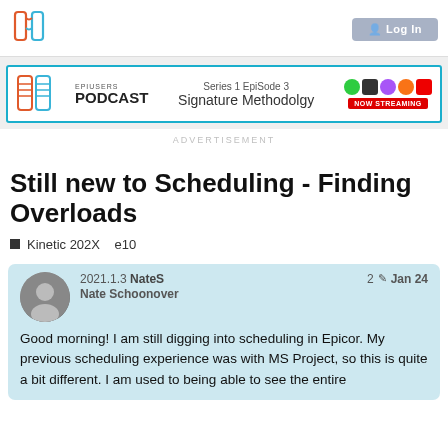EpiUsers logo | Login button
[Figure (logo): EpiUsers Podcast banner ad: Series 1 EpiSode 3 Signature Methodolgy, NOW STREAMING]
ADVERTISEMENT
Still new to Scheduling - Finding Overloads
Kinetic 202X   e10
2021.1.3 NateS  Nate Schoonover  2  Jan 24
Good morning! I am still digging into scheduling in Epicor. My previous scheduling experience was with MS Project, so this is quite a bit different. I am used to being able to see the entire schedule in one report, that would list every Job...